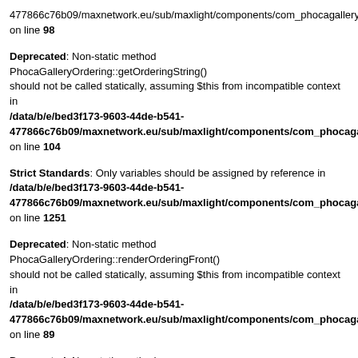477866c76b09/maxnetwork.eu/sub/maxlight/components/com_phocagallery/m on line 98
Deprecated: Non-static method PhocaGalleryOrdering::getOrderingString() should not be called statically, assuming $this from incompatible context in /data/b/e/bed3f173-9603-44de-b541-477866c76b09/maxnetwork.eu/sub/maxlight/components/com_phocagallery/m on line 104
Strict Standards: Only variables should be assigned by reference in /data/b/e/bed3f173-9603-44de-b541-477866c76b09/maxnetwork.eu/sub/maxlight/components/com_phocagallery/v on line 1251
Deprecated: Non-static method PhocaGalleryOrdering::renderOrderingFront() should not be called statically, assuming $this from incompatible context in /data/b/e/bed3f173-9603-44de-b541-477866c76b09/maxnetwork.eu/sub/maxlight/components/com_phocagallery/m on line 89
Deprecated: Non-static method PhocaGalleryOrdering::getOrderingImageArray() should not be called statically, assuming $this from incompatible context in /data/b/e/bed3f173-9603-44de-b541-477866c76b09/maxnetwork.eu/sub/maxlight/administrator/components/com_ on line 146
Strict Standards: Only variables should be assigned by reference in /data/b/e/bed3f173-9603-44de-b541-477866c76b09/maxnetwork.eu/sub/maxlight/components/com_phocagallery/v on line 1254